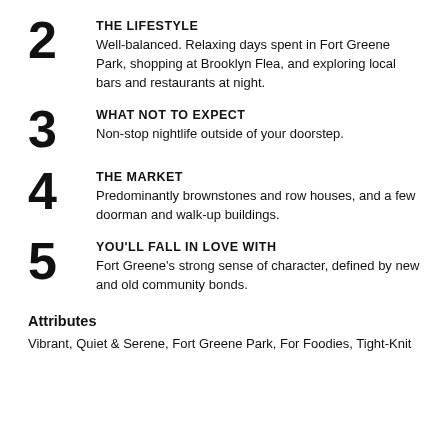2 THE LIFESTYLE
Well-balanced. Relaxing days spent in Fort Greene Park, shopping at Brooklyn Flea, and exploring local bars and restaurants at night.
3 WHAT NOT TO EXPECT
Non-stop nightlife outside of your doorstep.
4 THE MARKET
Predominantly brownstones and row houses, and a few doorman and walk-up buildings.
5 YOU'LL FALL IN LOVE WITH
Fort Greene's strong sense of character, defined by new and old community bonds.
Attributes
Vibrant, Quiet & Serene, Fort Greene Park, For Foodies, Tight-Knit